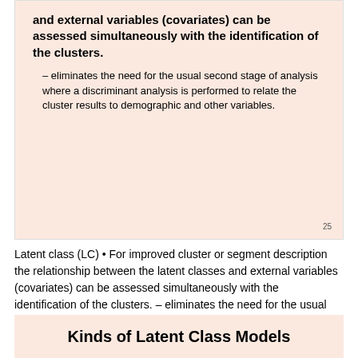and external variables (covariates) can be assessed simultaneously with the identification of the clusters.
– eliminates the need for the usual second stage of analysis where a discriminant analysis is performed to relate the cluster results to demographic and other variables.
Latent class (LC) • For improved cluster or segment description the relationship between the latent classes and external variables (covariates) can be assessed simultaneously with the identification of the clusters. – eliminates the need for the usual second stage of analysis where a discriminant analysis is performed to relate the cluster results to demographic and other variables. 25
Kinds of Latent Class Models